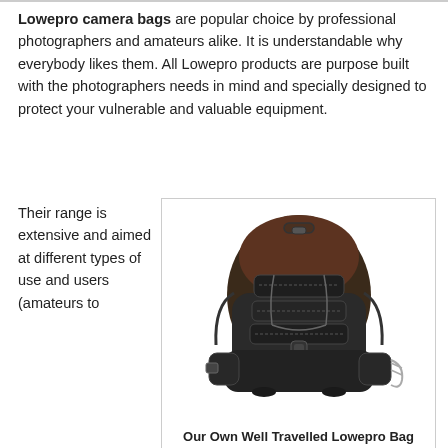Lowepro camera bags are popular choice by professional photographers and amateurs alike. It is understandable why everybody likes them. All Lowepro products are purpose built with the photographers needs in mind and specially designed to protect your vulnerable and valuable equipment.
Their range is extensive and aimed at different types of use and users (amateurs to
[Figure (photo): A dark brown and black Lowepro camera backpack with multiple front pockets and straps, shown from the front against a white background.]
Our Own Well Travelled Lowepro Bag Still Looking Good!